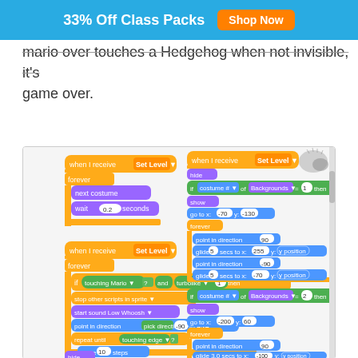33% Off Class Packs  Shop Now
mario over touches a Hedgehog when not invisible, it's game over.
[Figure (screenshot): Scratch programming blocks editor showing two sets of sprite scripts with orange 'when I receive Set Level' hat blocks, blue motion and sensing blocks, green operator blocks, and purple control blocks. Left panel shows a background cycling animation script and a hedgehog collision detection script. Right panel shows a Mario movement script with costume switching and gliding.]